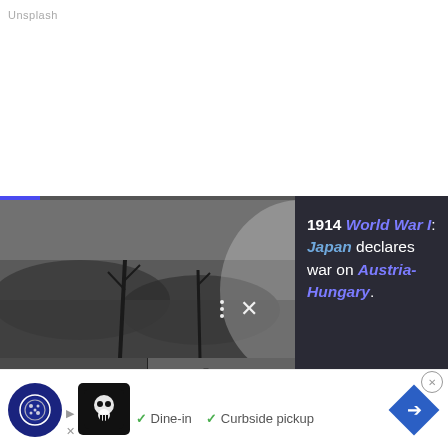Unsplash
[Figure (photo): A Wikipedia-style popup showing WWI photos collage on the left (three black-and-white wartime images: battlefield landscape top, soldiers with Red Cross bottom-left, military equipment bottom-right) with a dark panel on the right showing '1914 World War I: Japan declares war on Austria-Hungary.' with a progress bar at top and close/dots controls.]
energy use. Examples can be found in Atlanta, where electric scooters dot the city's sidewalks. New York, despite its public transportation headaches, has some of the cleanest tap water. No matter where you travel, new buildings from skyscrapers to schools are being constructed with cutting-edge green technologies.
[Figure (screenshot): Bottom advertisement bar showing a cookie consent icon (blue circle with cookie icon), an ad with a dark logo image, checkmarks for 'Dine-in' and 'Curbside pickup', and a blue diamond arrow icon. A close button (X in circle) is visible at top right of the ad.]